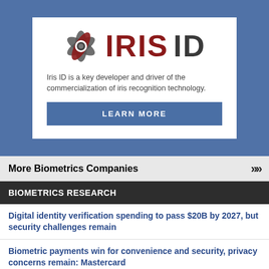[Figure (logo): Iris ID logo with spinning aperture icon and red/dark gray IRIS ID text]
Iris ID is a key developer and driver of the commercialization of iris recognition technology.
LEARN MORE
More Biometrics Companies
BIOMETRICS RESEARCH
Digital identity verification spending to pass $20B by 2027, but security challenges remain
Biometric payments win for convenience and security, privacy concerns remain: Mastercard
Africa needs biometric de-duplication, Smile Identity argues
More Biometrics Research